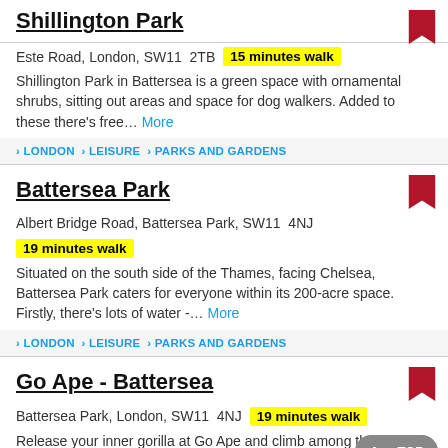Shillington Park
Este Road, London, SW11  2TB  15 minutes walk
Shillington Park in Battersea is a green space with ornamental shrubs, sitting out areas and space for dog walkers. Added to these there's free...  More
> LONDON > LEISURE > PARKS AND GARDENS
Battersea Park
Albert Bridge Road, Battersea Park, SW11  4NJ  19 minutes walk
Situated on the south side of the Thames, facing Chelsea, Battersea Park caters for everyone within its 200-acre space. Firstly, there's lots of water -...  More
> LONDON > LEISURE > PARKS AND GARDENS
Go Ape - Battersea
Battersea Park, London, SW11  4NJ  19 minutes walk
Release your inner gorilla at Go Ape and climb among the tallest trees in Battersea Park. There's  More